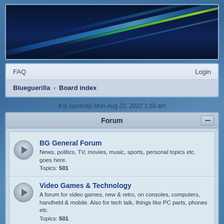[Figure (illustration): Blue/teal abstract banner with light rays on dark blue background]
FAQ
Login
Blueguerilla ‹ Board index
It is currently Mon Aug 22, 2022 1:59 am
Forum
BG General Forum
News, politics, TV, movies, music, sports, personal topics etc. goes here.
Topics: 501
Video Games & Technology
A forum for video games, new & retro, on consoles, computers, handheld & mobile. Also for tech talk, things like PC parts, phones etc.
Topics: 501
Wrestling/MMA/Boxing
Wrestling! MMA! Boxing!
Topics: 87